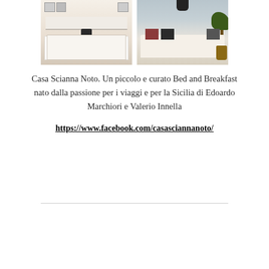[Figure (photo): Two photos side by side: left shows a dining room with white tablecloths and black chairs and sideboard; right shows a living room with a white sofa, colorful patterned pillows, a pendant lamp, and a large potted plant.]
Casa Scianna Noto. Un piccolo e curato Bed and Breakfast nato dalla passione per i viaggi e per la Sicilia di Edoardo Marchiori e Valerio Innella
https://www.facebook.com/casasciannanoto/
[Figure (photo): Exterior photo of a Mediterranean-style property with terracotta roofs, cream/ochre walls, and lush trees including cypress and pine trees in the foreground against a blue sky.]